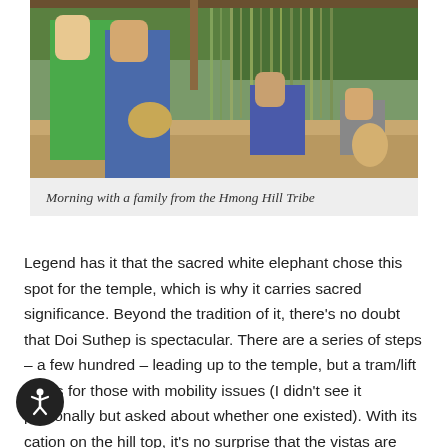[Figure (photo): Tourists and local people from the Hmong Hill Tribe in an outdoor setting with tall grass/reed bundles hanging, working on the ground]
Morning with a family from the Hmong Hill Tribe
Legend has it that the sacred white elephant chose this spot for the temple, which is why it carries sacred significance. Beyond the tradition of it, there's no doubt that Doi Suthep is spectacular. There are a series of steps – a few hundred – leading up to the temple, but a tram/lift exists for those with mobility issues (I didn't see it personally but asked about whether one existed). With its location on the hill top, it's no surprise that the vistas are part of the draw in this location, with sweeping views of the